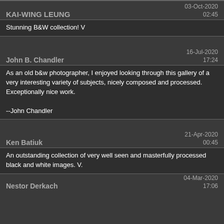KAI-WING LEUNG | 03-Oct-2020 02:45
Stunning B&W collection! V
John B. Chandler | 16-Jul-2020 17:24
As an old b&w photographer, I enjoyed looking through this gallery of a very interesting variety of subjects, nicely composed and processed. Exceptionally nice work.

--John Chandler
Ken Batiuk | 21-Apr-2020 00:45
An outstanding collection of very well seen and masterfully processed black and white images. V.
Nestor Derkach | 04-Mar-2020 17:06
Excellent monochrome gallery composition carefully executed and delivered with nice black and white values.
High Quality Monochrome Gallery.
Vote
Anne Cecilie | 04-Mar-2020 00:30
Excellent B&W gallery! V
William Barletta | 17-Aug-2018